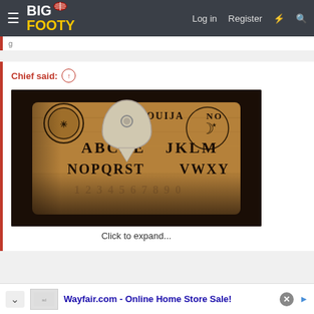BigFooty - Log in  Register
Chief said: ↑
[Figure (photo): Ouija board with planchette on top, showing YES, NO, OUIJA text and alphabet letters ABCDE, JKLM, NOPQRST, VWXY and numbers. Dark moody lighting.]
Click to expand...
Wayfair.com - Online Home Store Sale!